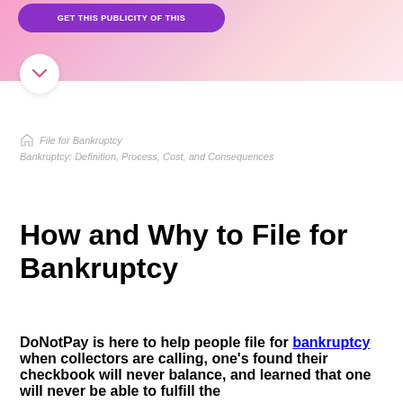[Figure (other): Pink/purple gradient banner with purple rounded button and white circle chevron button]
File for Bankruptcy
Bankruptcy: Definition, Process, Cost, and Consequences
How and Why to File for Bankruptcy
DoNotPay is here to help people file for bankruptcy when collectors are calling, one's found their checkbook will never balance, and learned that one will never be able to fulfill the